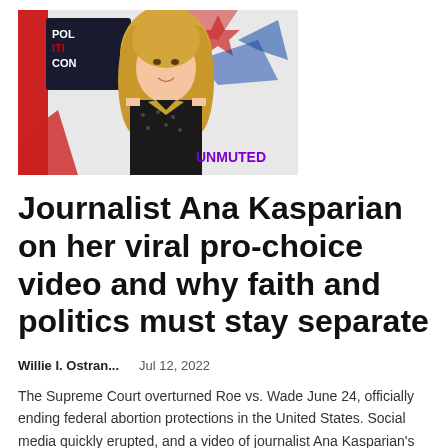[Figure (photo): Thumbnail image of journalist Ana Kasparian at what appears to be a Politicon event, with red, white, and blue star-themed background. Woman with long blonde hair wearing a black patterned sleeveless dress. 'UNMUTED' text in purple appears in the lower right of the image.]
Journalist Ana Kasparian on her viral pro-choice video and why faith and politics must stay separate
Willie I. Ostran...    Jul 12, 2022
The Supreme Court overturned Roe vs. Wade June 24, officially ending federal abortion protections in the United States. Social media quickly erupted, and a video of journalist Ana Kasparian's impassioned pro-choice rant from 2018 went...